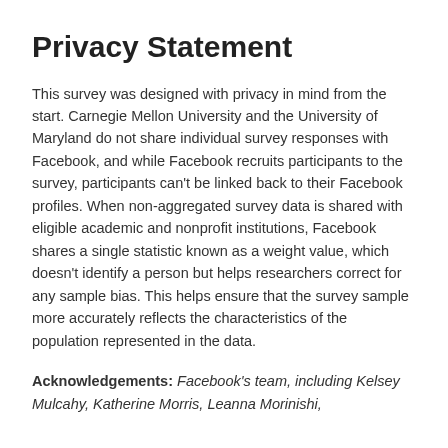Privacy Statement
This survey was designed with privacy in mind from the start. Carnegie Mellon University and the University of Maryland do not share individual survey responses with Facebook, and while Facebook recruits participants to the survey, participants can't be linked back to their Facebook profiles. When non-aggregated survey data is shared with eligible academic and nonprofit institutions, Facebook shares a single statistic known as a weight value, which doesn't identify a person but helps researchers correct for any sample bias. This helps ensure that the survey sample more accurately reflects the characteristics of the population represented in the data.
Acknowledgements: Facebook's team, including Kelsey Mulcahy, Katherine Morris, Leanna Morinishi,